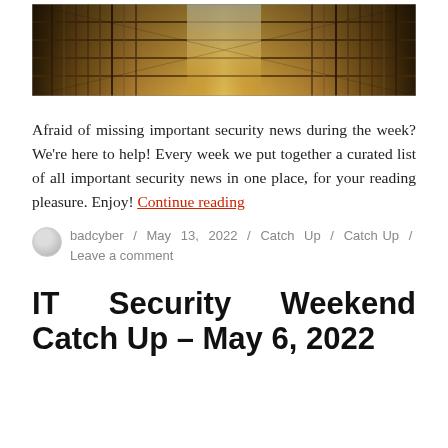[Figure (photo): Interior of a large library with long rows of bookshelves stretching into the distance, warm golden lighting]
Afraid of missing important security news during the week? We’re here to help! Every week we put together a curated list of all important security news in one place, for your reading pleasure. Enjoy! Continue reading
badcyber / May 13, 2022 / Catch Up / Catch Up / Leave a comment
IT Security Weekend Catch Up – May 6, 2022